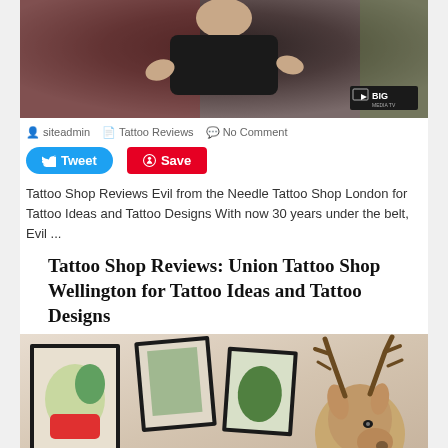[Figure (photo): Man in black shirt gesturing with hands, seated, with BIG media TV logo watermark in bottom right corner]
siteadmin   Tattoo Reviews   No Comment
Tweet   Save
Tattoo Shop Reviews Evil from the Needle Tattoo Shop London for Tattoo Ideas and Tattoo Designs With now 30 years under the belt, Evil ...
Tattoo Shop Reviews: Union Tattoo Shop Wellington for Tattoo Ideas and Tattoo Designs
[Figure (photo): Interior of a tattoo shop showing framed artwork on walls and a taxidermied deer head]